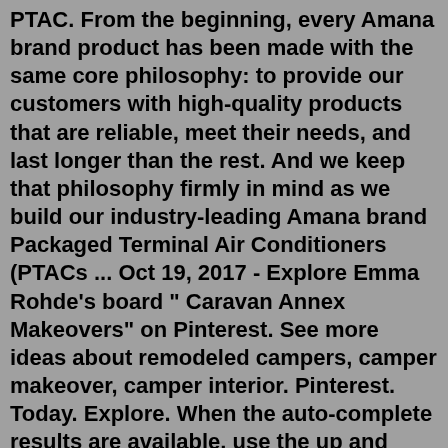PTAC. From the beginning, every Amana brand product has been made with the same core philosophy: to provide our customers with high-quality products that are reliable, meet their needs, and last longer than the rest. And we keep that philosophy firmly in mind as we build our industry-leading Amana brand Packaged Terminal Air Conditioners (PTACs ... Oct 19, 2017 - Explore Emma Rohde's board " Caravan Annex Makeovers" on Pinterest. See more ideas about remodeled campers, camper makeover, camper interior. Pinterest. Today. Explore. When the auto-complete results are available, use the up and down arrows to review and Enter to select. Touch device users can explore by touch or with swipe gestures.An Amana furnace and air conditioner were purchased in Dec 2013 after my 21 year old furnace died. The Amana furnace first broke down and stopped cycling Feb 2014. The air conditioner first broke down and blew warm air in June 2015. Since the first breakdowns the air conditioner broke again in June 2015, it was making a